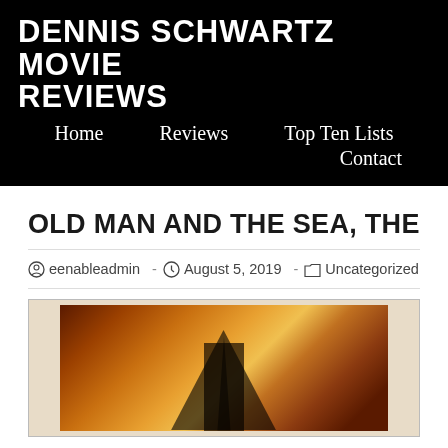Dennis Schwartz Movie Reviews
Home   Reviews   Top Ten Lists   Contact
OLD MAN AND THE SEA, THE
eenableadmin · August 5, 2019 · Uncategorized
[Figure (photo): Movie poster or still image for The Old Man and the Sea, showing warm orange and golden tones suggesting ocean and fire, with a dark sail or mast shape visible.]